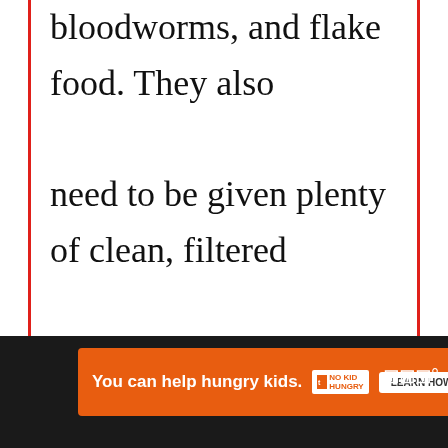bloodworms, and flake food. They also need to be given plenty of clean, filtered water. They should never be exposed to cold temperatures. Koi fish are sensitive to changes in temperature. They can easily die if exposed to freezing
[Figure (screenshot): UI overlay with like button (blue heart), share button, and What's Next card showing About Us]
[Figure (screenshot): Orange advertisement banner: 'You can help hungry kids.' with No Kid Hungry logo and Learn How button, on dark background bar]